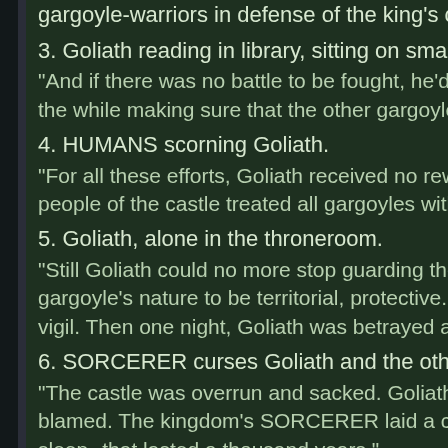gargoyle-warriors in defense of the king's castle.
3. Goliath reading in library, sitting on small gargoyle...
"And if there was no battle to be fought, he'd retreat t... the while making sure that the other gargoyles stayed...
4. HUMANS scorning Goliath.
"For all these efforts, Goliath received no reward, no... people of the castle treated all gargoyles with nothing...
5. Goliath, alone in the throneroom.
"Still Goliath could no more stop guarding the castle... gargoyle's nature to be territorial, protective. And so f... vigil. Then one night, Goliath was betrayed and lured...
6. SORCERER curses Goliath and the other gargoyle...
"The castle was overrun and sacked. Goliath and the... blamed. The kingdom's SORCERER laid a curse upo... sleep--that lasted a thousand years."
7. Castle on the skyscraper.
"New York City, 1994. A rich and powerful man has d...